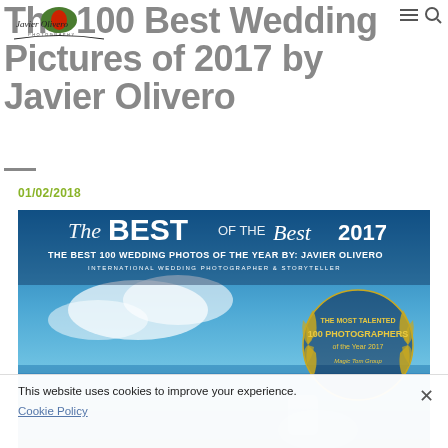The 100 Best Wedding Pictures of 2017 by Javier Olivero
[Figure (logo): Javier Olivero Photography logo — stylized olive with text]
01/02/2018
[Figure (photo): Promotional banner image reading 'The Best of the Best 2017 — The Best 100 Wedding Photos of the Year by: Javier Olivero — International Wedding Photographer & Storyteller' with a laurel badge saying 'The Most Talented 100 Photographers of the Year 2017 — Magic Tom Group', set against a beach/sky backdrop with a bride figure]
This website uses cookies to improve your experience. Cookie Policy